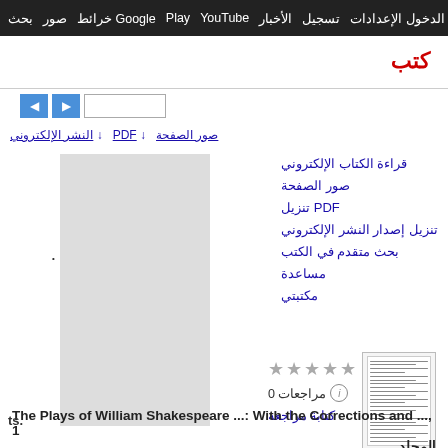بحث صور خرائط Google Play YouTube الأخبار تسجيل الدخول الإعدادات
كتب
[Figure (screenshot): Navigation buttons (back/forward arrows) and a page input field]
صور الصفحة  ↓ PDF  ↓ النشر الإلكتروني
قراءة الكتاب الإلكتروني
صور الصفحة
تنزيل PDF
تنزيل إصدار النشر الإلكتروني
بحث متقدم في الكتب
مساعدة
مكتبتي
[Figure (photo): Thumbnail image of book cover page]
★★★★★
0 مراجعات
كتابة مراجعة
The Plays of William Shakespeare ...: With the Corrections and ..., المجلد 1